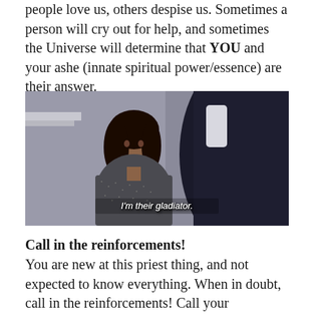people love us, others despise us. Sometimes a person will cry out for help, and sometimes the Universe will determine that YOU and your ashe (innate spiritual power/essence) are their answer.
[Figure (photo): Still image from the TV show Scandal showing a Black woman in a grey tweed jacket facing a man in a dark suit, with subtitle text 'I'm their gladiator.']
Call in the reinforcements!
You are new at this priest thing, and not expected to know everything. When in doubt, call in the reinforcements! Call your godparent, your ajubona (2nd godparent), or other elders or priests in your ile/temple/house. Build a library of reference books and spiritual journals. And